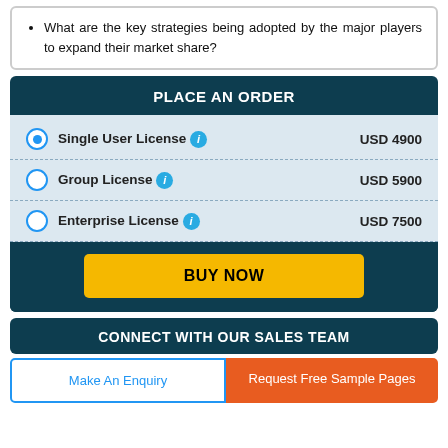What are the key strategies being adopted by the major players to expand their market share?
PLACE AN ORDER
Single User License  USD 4900
Group License  USD 5900
Enterprise License  USD 7500
BUY NOW
CONNECT WITH OUR SALES TEAM
Make An Enquiry
Request Free Sample Pages